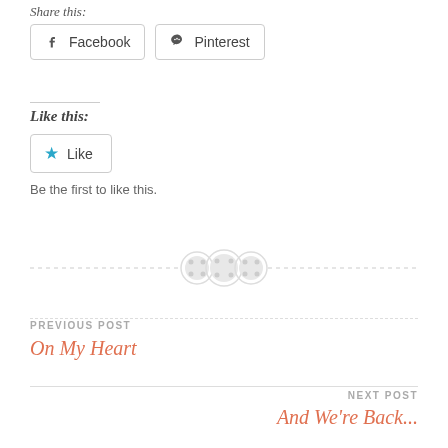Share this:
[Figure (other): Social share buttons: Facebook and Pinterest]
Like this:
[Figure (other): Like button with blue star icon]
Be the first to like this.
[Figure (other): Decorative divider with three button/circle icons]
PREVIOUS POST
On My Heart
NEXT POST
And We're Back...